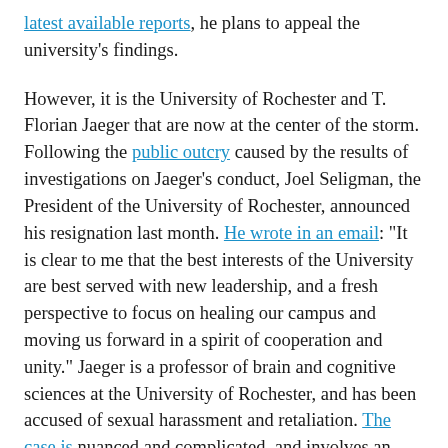latest available reports, he plans to appeal the university's findings.
However, it is the University of Rochester and T. Florian Jaeger that are now at the center of the storm. Following the public outcry caused by the results of investigations on Jaeger's conduct, Joel Seligman, the President of the University of Rochester, announced his resignation last month. He wrote in an email: “It is clear to me that the best interests of the University are best served with new leadership, and a fresh perspective to focus on healing our campus and moving us forward in a spirit of cooperation and unity.” Jaeger is a professor of brain and cognitive sciences at the University of Rochester, and has been accused of sexual harassment and retaliation. The case is nuanced and complicated, and involves an Equal Employment Opportunity Commission complaint filed by a number of students and faculty